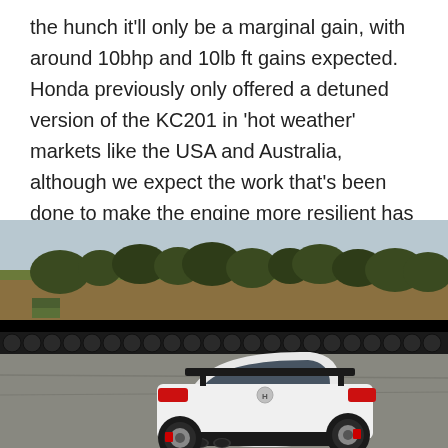the hunch it'll only be a marginal gain, with around 10bhp and 10lb ft gains expected. Honda previously only offered a detuned version of the KC201 in 'hot weather' markets like the USA and Australia, although we expect the work that's been done to make the engine more resilient has been done to align all global models in power and torque.
[Figure (photo): Rear three-quarter view of a white Honda Civic Type R on a race track, with tyre barriers and trees visible in the background.]